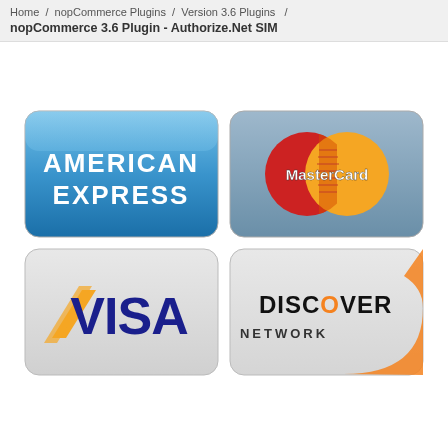Home / nopCommerce Plugins / Version 3.6 Plugins / nopCommerce 3.6 Plugin - Authorize.Net SIM
[Figure (logo): American Express credit card logo - blue gradient rounded rectangle card with AMERICAN EXPRESS text in white]
[Figure (logo): MasterCard credit card logo - blue-grey gradient rounded rectangle card with overlapping red and orange circles and MasterCard text in white]
[Figure (logo): Visa credit card logo - white/light grey rounded rectangle card with VISA text in dark blue and gold/yellow chevron accent]
[Figure (logo): Discover Network credit card logo - white/light grey rounded rectangle card with DISCOVER NETWORK text in black and orange accent in bottom right corner]